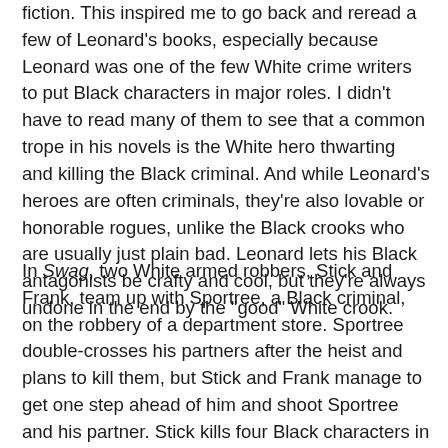fiction. This inspired me to go back and reread a few of Leonard's books, especially because Leonard was one of the few White crime writers to put Black characters in major roles. I didn't have to read many of them to see that a common trope in his novels is the White hero thwarting and killing the Black criminal. And while Leonard's heroes are often criminals, they're also lovable or honorable rogues, unlike the Black crooks who are usually just plain bad. Leonard lets his Black antagonists be crafty and cool, but they're always undone in the end by the "good" White crook.
In Swag, two White armed robbers, Stick and Frank, team up with Sportree, a Black criminal, on the robbery of a department store. Sportree double-crosses his partners after the heist and plans to kill them, but Stick and Frank manage to get one step ahead of him and shoot Sportree and his partner. Stick kills four Black characters in the course of story, something Frank notes at the end with amused astonishment. Rum Punch, filmed as Jackie Brown, has a White woman and man turning the tables on Ordell, the Black gun runner she's been working for. He's killed by White ATF agents. Get Shorty has "good" mobster Chili Palmer